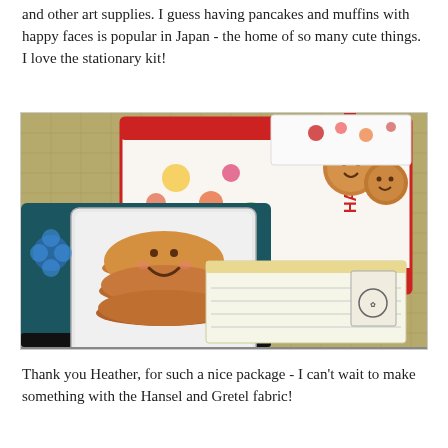and other art supplies. I guess having pancakes and muffins with happy faces is popular in Japan - the home of so many cute things. I love the stationary kit!
[Figure (photo): A photo of Japanese stationery items on a woven surface. There is a tin box with a smiling pancake stack on the lid, and colorful letter/notepad sets with 'HAPPY SMILE' text and illustrated smiley muffins on the covers.]
Thank you Heather, for such a nice package - I can't wait to make something with the Hansel and Gretel fabric!